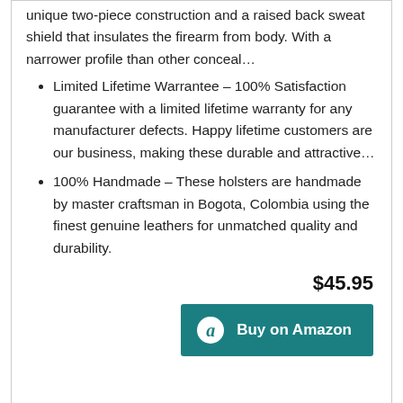unique two-piece construction and a raised back sweat shield that insulates the firearm from body. With a narrower profile than other conceal...
Limited Lifetime Warrantee – 100% Satisfaction guarantee with a limited lifetime warranty for any manufacturer defects. Happy lifetime customers are our business, making these durable and attractive...
100% Handmade – These holsters are handmade by master craftsman in Bogota, Colombia using the finest genuine leathers for unmatched quality and durability.
$45.95
Buy on Amazon
Back To Top